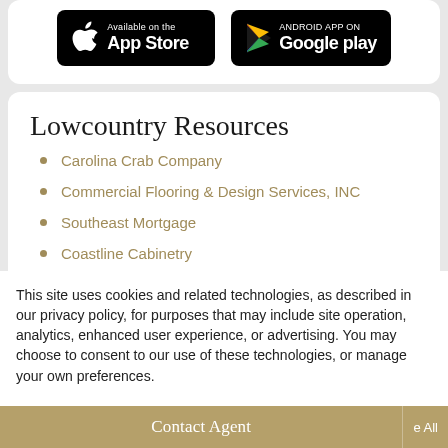[Figure (screenshot): App store download buttons: 'Available on the App Store' (Apple) and 'ANDROID APP ON Google play' (Google Play)]
Lowcountry Resources
Carolina Crab Company
Commercial Flooring & Design Services, INC
Southeast Mortgage
Coastline Cabinetry
This site uses cookies and related technologies, as described in our privacy policy, for purposes that may include site operation, analytics, enhanced user experience, or advertising. You may choose to consent to our use of these technologies, or manage your own preferences.
Contact Agent